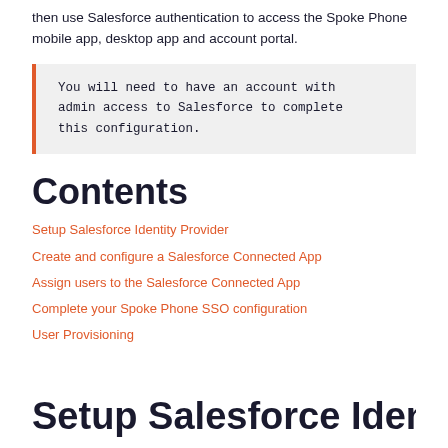then use Salesforce authentication to access the Spoke Phone mobile app, desktop app and account portal.
You will need to have an account with admin access to Salesforce to complete this configuration.
Contents
Setup Salesforce Identity Provider
Create and configure a Salesforce Connected App
Assign users to the Salesforce Connected App
Complete your Spoke Phone SSO configuration
User Provisioning
Setup Salesforce Identit